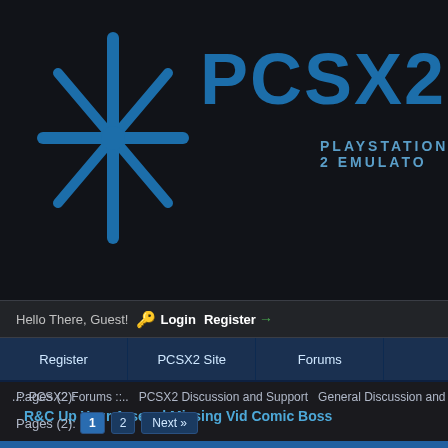[Figure (logo): PCSX2 website header with asterisk/star logo and PCSX2 text in blue on dark background, with PLAYSTATION 2 EMULATOR subtitle]
Hello There, Guest!  🔑 Login  Register →
Register  |  PCSX2 Site  |  Forums
..:: PCSX2 Forums ::..  PCSX2 Discussion and Support  General Discussion and
R&C Up Your Arsenal Missing Vid Comic Boss
Pages (2):  1  2  Next »